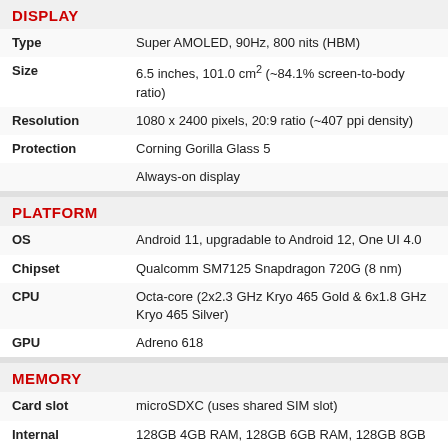DISPLAY
| Property | Value |
| --- | --- |
| Type | Super AMOLED, 90Hz, 800 nits (HBM) |
| Size | 6.5 inches, 101.0 cm² (~84.1% screen-to-body ratio) |
| Resolution | 1080 x 2400 pixels, 20:9 ratio (~407 ppi density) |
| Protection | Corning Gorilla Glass 5 |
|  | Always-on display |
PLATFORM
| Property | Value |
| --- | --- |
| OS | Android 11, upgradable to Android 12, One UI 4.0 |
| Chipset | Qualcomm SM7125 Snapdragon 720G (8 nm) |
| CPU | Octa-core (2x2.3 GHz Kryo 465 Gold & 6x1.8 GHz Kryo 465 Silver) |
| GPU | Adreno 618 |
MEMORY
| Property | Value |
| --- | --- |
| Card slot | microSDXC (uses shared SIM slot) |
| Internal | 128GB 4GB RAM, 128GB 6GB RAM, 128GB 8GB RAM, 256GB 6GB RAM, 256GB 8GB RAM |
MAIN CAMERA